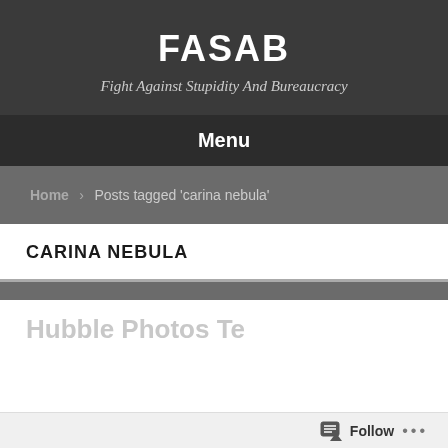FASAB
Fight Against Stupidity And Bureaucracy
Menu
Home > Posts tagged 'carina nebula'
CARINA NEBULA
Hubble Photos Te...
Follow